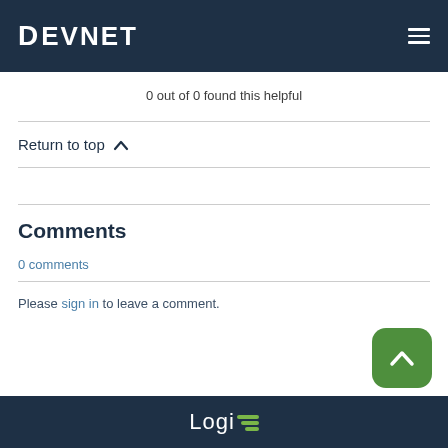DEVNET
0 out of 0 found this helpful
Return to top
Comments
0 comments
Please sign in to leave a comment.
Logi